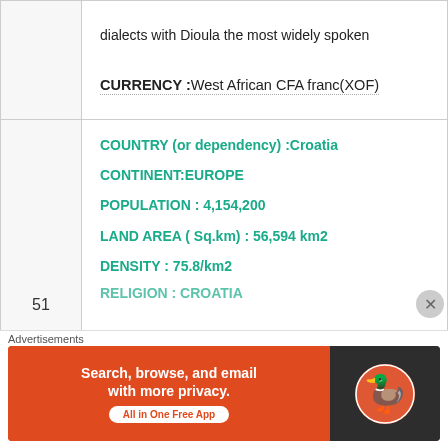dialects with Dioula the most widely spoken
CURRENCY :West African CFA franc(XOF)
COUNTRY (or dependency) :Croatia
CONTINENT:EUROPE
POPULATION : 4,154,200
LAND AREA ( Sq.km) : 56,594 km2
DENSITY : 75.8/km2
51
RELIGION: CROATIA (partial)
Advertisements
[Figure (screenshot): DuckDuckGo advertisement banner: 'Search, browse, and email with more privacy. All in One Free App' with DuckDuckGo logo on dark background]